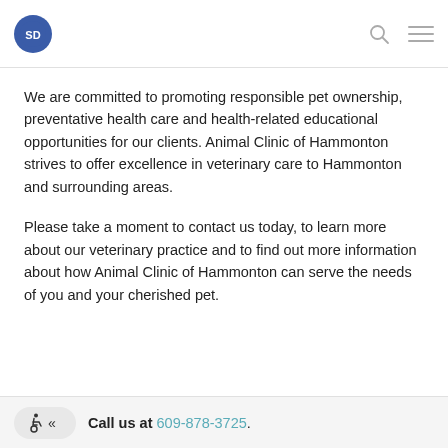Animal Clinic of Hammonton logo, search icon, menu icon
We are committed to promoting responsible pet ownership, preventative health care and health-related educational opportunities for our clients. Animal Clinic of Hammonton strives to offer excellence in veterinary care to Hammonton and surrounding areas.
Please take a moment to contact us today, to learn more about our veterinary practice and to find out more information about how Animal Clinic of Hammonton can serve the needs of you and your cherished pet.
Call us at 609-878-3725.